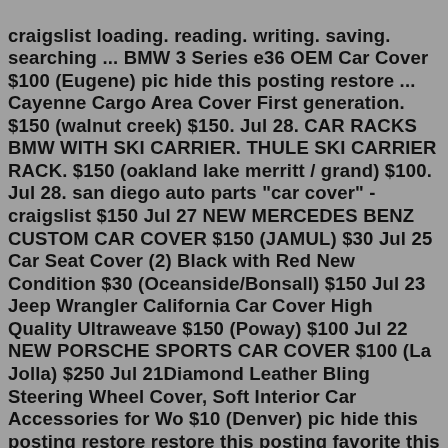craigslist loading. reading. writing. saving. searching ... BMW 3 Series e36 OEM Car Cover $100 (Eugene) pic hide this posting restore ... Cayenne Cargo Area Cover First generation. $150 (walnut creek) $150. Jul 28. CAR RACKS BMW WITH SKI CARRIER. THULE SKI CARRIER RACK. $150 (oakland lake merritt / grand) $100. Jul 28. san diego auto parts "car cover" - craigslist $150 Jul 27 NEW MERCEDES BENZ CUSTOM CAR COVER $150 (JAMUL) $30 Jul 25 Car Seat Cover (2) Black with Red New Condition $30 (Oceanside/Bonsall) $150 Jul 23 Jeep Wrangler California Car Cover High Quality Ultraweave $150 (Poway) $100 Jul 22 NEW PORSCHE SPORTS CAR COVER $100 (La Jolla) $250 Jul 21Diamond Leather Bling Steering Wheel Cover, Soft Interior Car Accessories for Wo $10 (Denver) pic hide this posting restore restore this posting favorite this post Jul 1tampa bay auto parts "car cover" - craigslist loading. reading. writing. saving ... Mercedes 2010-2014 E350 indoor/Outdoor Car cover $150 (srq > Bradenton) hide this ... suv